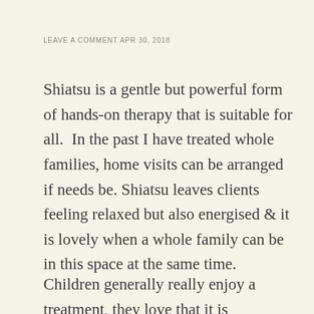LEAVE A COMMENT APR 30, 2018
Shiatsu is a gentle but powerful form of hands-on therapy that is suitable for all.  In the past I have treated whole families, home visits can be arranged if needs be. Shiatsu leaves clients feeling relaxed but also energised & it is lovely when a whole family can be in this space at the same time.
Children generally really enjoy a treatment, they love that it is